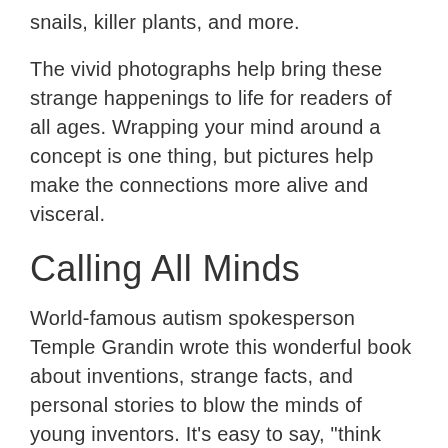snails, killer plants, and more.
The vivid photographs help bring these strange happenings to life for readers of all ages. Wrapping your mind around a concept is one thing, but pictures help make the connections more alive and visceral.
Calling All Minds
World-famous autism spokesperson Temple Grandin wrote this wonderful book about inventions, strange facts, and personal stories to blow the minds of young inventors. It’s easy to say, “think outside the box,” but this book helps readers young and old see the world in a new way.